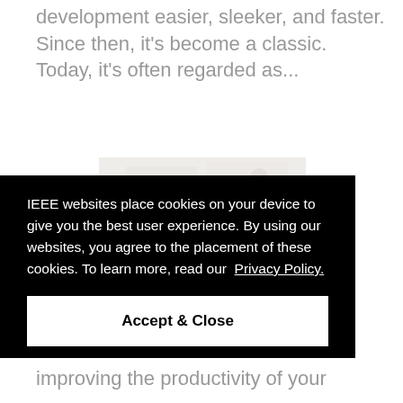development easier, sleeker, and faster. Since then, it's become a classic. Today, it's often regarded as...
[Figure (photo): A group of people in an office or meeting space, appearing to be collaborating or having a discussion. The image is bright and slightly blurred/washed out.]
IEEE websites place cookies on your device to give you the best user experience. By using our websites, you agree to the placement of these cookies. To learn more, read our Privacy Policy.
Accept & Close
improving the productivity of your